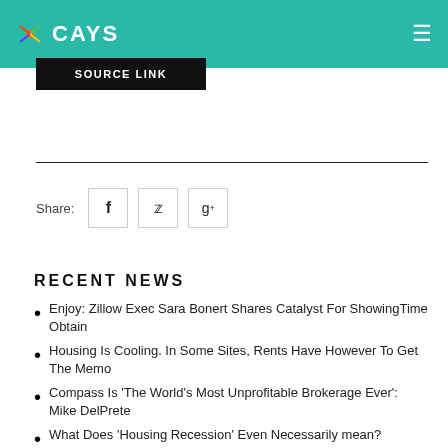CAYS
SOURCE LINK
Share:
RECENT NEWS
Enjoy: Zillow Exec Sara Bonert Shares Catalyst For ShowingTime Obtain
Housing Is Cooling. In Some Sites, Rents Have However To Get The Memo
Compass Is 'The World's Most Unprofitable Brokerage Ever': Mike DelPrete
What Does 'Housing Recession' Even Necessarily mean? Economists You